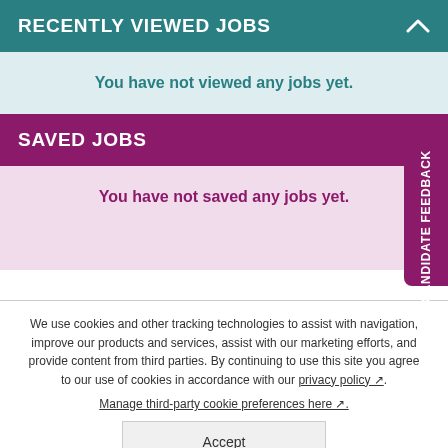RECENTLY VIEWED JOBS
You have not viewed any jobs yet.
SAVED JOBS
You have not saved any jobs yet.
We use cookies and other tracking technologies to assist with navigation, improve our products and services, assist with our marketing efforts, and provide content from third parties. By continuing to use this site you agree to our use of cookies in accordance with our privacy policy. Manage third-party cookie preferences here.
Accept